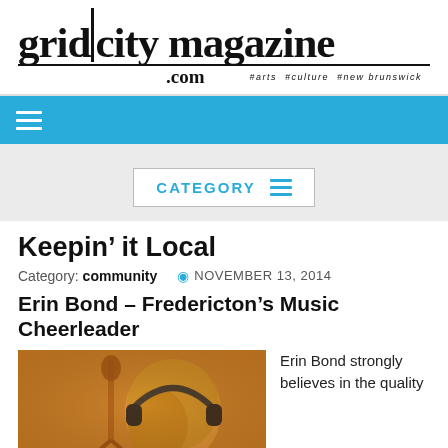[Figure (logo): Grid City Magazine logo with pipe separator, .com subtitle, and tagline 'arts culture new brunswick']
grid|city magazine .com  arts #culture #new brunswick
CATEGORY
Keepin’ it Local
Category: community   NOVEMBER 13, 2014
Erin Bond – Fredericton’s Music Cheerleader
[Figure (photo): Warm orange-toned photo of a woman wearing headphones, viewed from behind/side, in a recording studio setting]
Erin Bond strongly believes in the quality